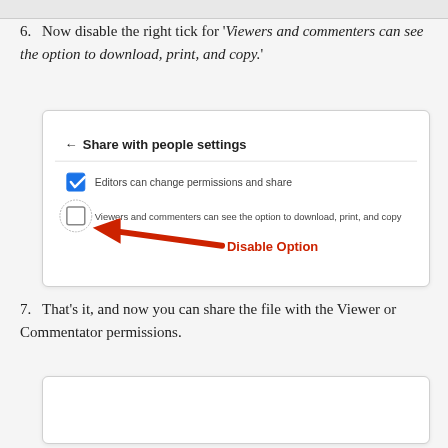6. Now disable the right tick for 'Viewers and commenters can see the option to download, print, and copy.'
[Figure (screenshot): Screenshot of Google Drive 'Share with people settings' dialog showing two checkboxes: 'Editors can change permissions and share' (checked, blue) and 'Viewers and commenters can see the option to download, print, and copy' (unchecked, circled). A red arrow points to the unchecked box with red bold text 'Disable Option'.]
7. That's it, and now you can share the file with the Viewer or Commentator permissions.
[Figure (screenshot): Partial screenshot (bottom cut off) showing the next step illustration.]